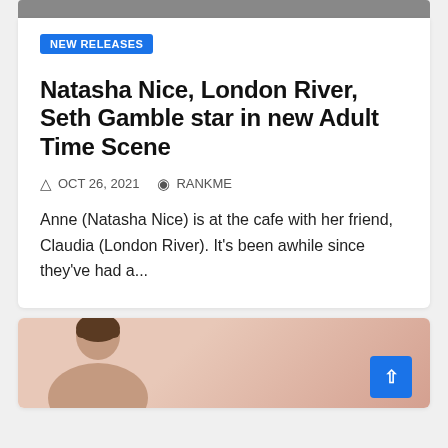[Figure (photo): Top image strip showing partial photo of people]
NEW RELEASES
Natasha Nice, London River, Seth Gamble star in new Adult Time Scene
OCT 26, 2021   RANKME
Anne (Natasha Nice) is at the cafe with her friend, Claudia (London River). It's been awhile since they've had a...
[Figure (photo): Bottom card with partial photo of a person]